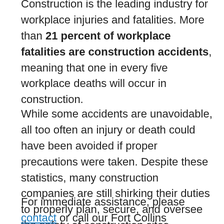Construction is the leading industry for workplace injuries and fatalities. More than 21 percent of workplace fatalities are construction accidents, meaning that one in every five workplace deaths will occur in construction.
While some accidents are unavoidable, all too often an injury or death could have been avoided if proper precautions were taken. Despite these statistics, many construction companies are still shirking their duties to properly plan, secure, and oversee the safety of construction sites.
For immediate assistance, please contact or call our Fort Collins construction site accident lawyers at (303) 665-2929 today for a free consultation.